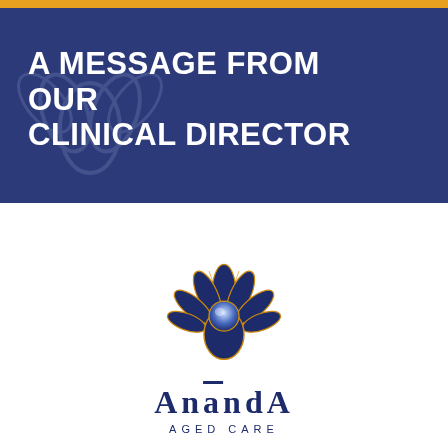A MESSAGE FROM OUR CLINICAL DIRECTOR
[Figure (logo): Ananda Aged Care logo: a stylized lotus/sunflower in dark navy blue with gold outlines and a radiant glow at the center, above the text 'Ananda Aged Care']